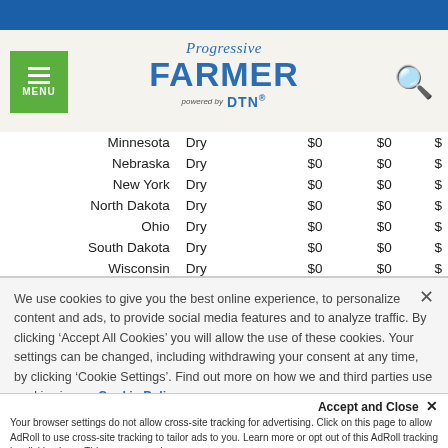Progressive Farmer powered by DTN
| State | Type | Col1 | Col2 | Col3 |
| --- | --- | --- | --- | --- |
| Minnesota | Dry | $0 | $0 | $ |
| Nebraska | Dry | $0 | $0 | $ |
| New York | Dry | $0 | $0 | $ |
| North Dakota | Dry | $0 | $0 | $ |
| Ohio | Dry | $0 | $0 | $ |
| South Dakota | Dry | $0 | $0 | $ |
| Wisconsin | Dry | $0 | $0 | $ |
| Valero Energy Corp, San Antonio Texas |  |  |  |  |
| Indiana | Dry | $0 | $0 | $ |
We use cookies to give you the best online experience, to personalize content and ads, to provide social media features and to analyze traffic. By clicking ‘Accept All Cookies’ you will allow the use of these cookies. Your settings can be changed, including withdrawing your consent at any time, by clicking ‘Cookie Settings’. Find out more on how we and third parties use cookies in our Cookie Policy
Accept and Close × Your browser settings do not allow cross-site tracking for advertising. Click on this page to allow AdRoll to use cross-site tracking to tailor ads to you. Learn more or opt out of this AdRoll tracking by clicking here. This message only appears once.